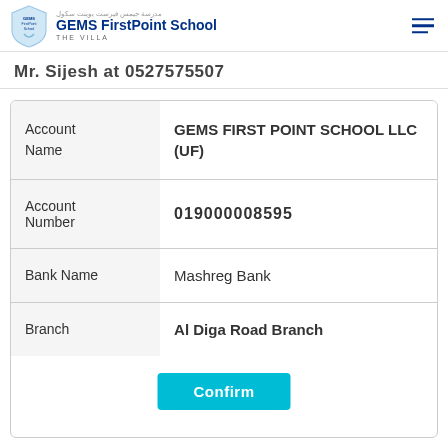GEMS FirstPoint School THE VILLA
Mr. Sijesh at 0527575507
| Field | Value |
| --- | --- |
| Account Name | GEMS FIRST POINT SCHOOL LLC (UF) |
| Account Number | 019000008595 |
| Bank Name | Mashreg Bank |
| Branch | Al Diga Road Branch |
Confirm